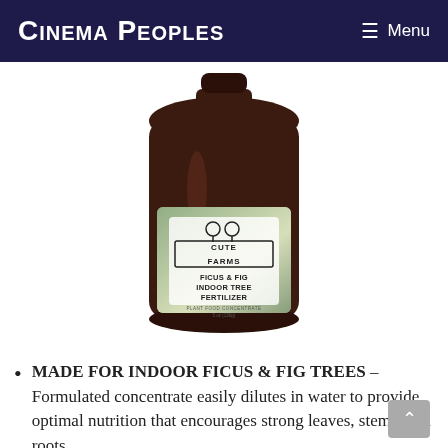Cinema Peoples  ≡ Menu
[Figure (photo): A dark amber glass bottle of Cute Farms Ficus & Fig Indoor Tree Fertilizer, Plant Food Concentrate, 5 oz (136g), with a green botanical label showing two tree icons and the brand name 'Cute Farms'.]
MADE FOR INDOOR FICUS & FIG TREES – Formulated concentrate easily dilutes in water to provide optimal nutrition that encourages strong leaves, stems, and roots